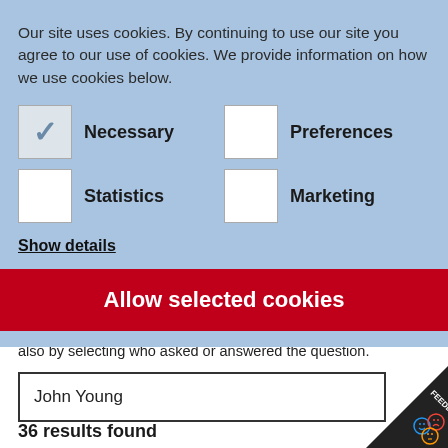Our site uses cookies. By continuing to use our site you agree to our use of cookies. We provide information on how we use cookies below.
Necessary
Preferences
Statistics
Marketing
Show details
Allow selected cookies
also by selecting who asked or answered the question.
John Young
36 results found